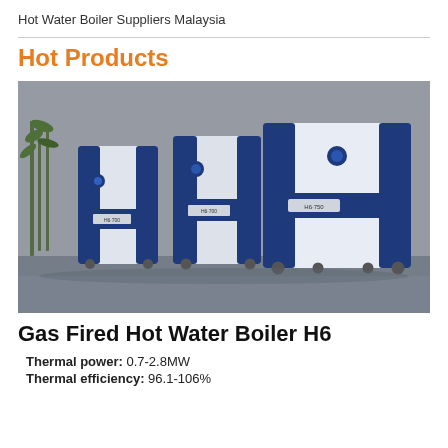Hot Water Boiler Suppliers Malaysia
Hot Products
[Figure (photo): Three blue and white gas-fired hot water boiler units (H6-700 and H6-750 models) on wheels, arranged in a row against a grey stone wall background with bamboo plants visible to the left.]
Gas Fired Hot Water Boiler H6
Thermal power: 0.7-2.8MW
Thermal efficiency: 96.1-106%